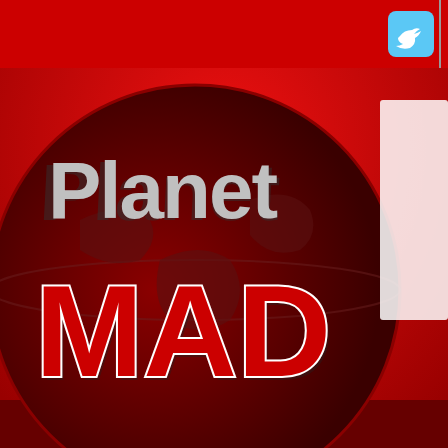[Figure (screenshot): Planet MADtv website header with red background, globe logo, Planet MAD text, and navigation bar with Home, Cast, FAQ links and Twitter icon]
Home  Cast  FAQ
Planet MADtv > Everything Else > Off-topic Discussion > Movies
Movies You Haven't Gotten Around to Seeing
User Name  Password
Register
Members List
Notices
Welcome the larges forum and repository